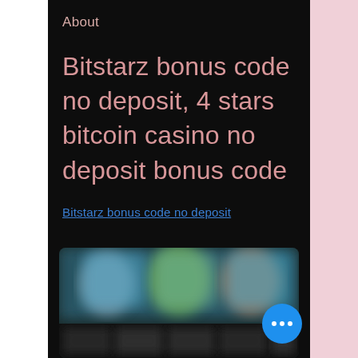About
Bitstarz bonus code no deposit, 4 stars bitcoin casino no deposit bonus code
Bitstarz bonus code no deposit
[Figure (photo): Blurred screenshot of a casino game interface with colorful characters and game thumbnails]